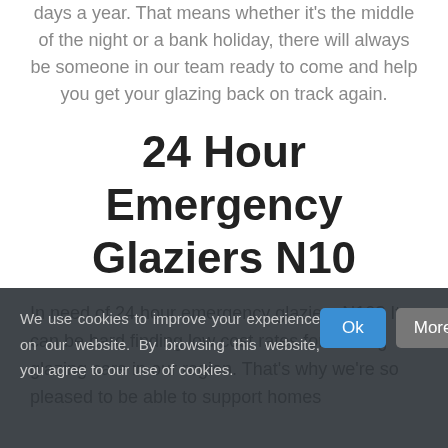days a year. That means whether it's the middle of the night or a bank holiday, there will always be someone in our team ready to come and help you get your glazing back on track again.
24 Hour Emergency Glaziers N10
In need of 24 hour emergency glaziers N10? It can be hard finding low cost rates for leading glazing care in our region. That's why we're so pleased to be able to support homes
We use cookies to improve your experience on our website. By browsing this website, you agree to our use of cookies.